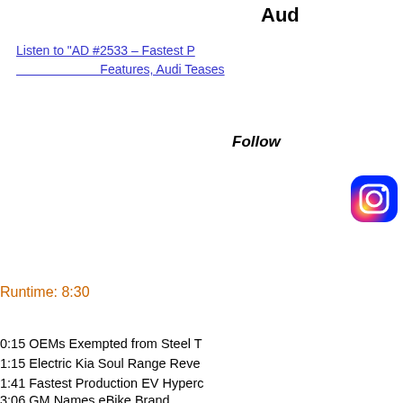Aud
Listen to "AD #2533 – Fastest P... Features, Audi Teases...
Follow
[Figure (logo): Instagram icon]
Runtime: 8:30
0:15 OEMs Exempted from Steel T
1:15 Electric Kia Soul Range Reve
1:41 Fastest Production EV Hyperc
3:06 GM Names eBike Brand
3:47 Tenneco Splits in Two
4:19 Audi Teases Q4 E-Tron Conce
4:55 Tesla Introduces New Feature
6:01 Auto Industry Struggling to Fill
Visit our sponsors to thank them fo... Dow Automotive Systems and Exx...
»Subscribe to Podcast |
[Figure (logo): iTunes/Apple Podcasts icon]
continue reading »
+ Share